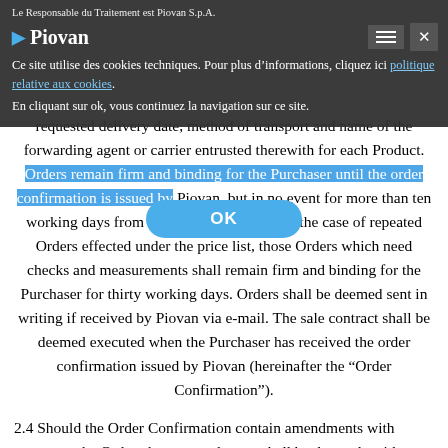[Figure (screenshot): Cookie consent banner overlay from Piovan website, with Piovan logo, close button, hamburger menu, cookie notice text in French with a link, and an OK button.]
requested delivery date, method of transport and name of the forwarding agent or carrier entrusted therewith for each Product. Orders remain firm and binding for the Purchaser until the order confirmation is issued by Piovan, but in no event for more than ten working days from its receipt by Piovan. In the case of repeated Orders effected under the price list, those Orders which need checks and measurements shall remain firm and binding for the Purchaser for thirty working days. Orders shall be deemed sent in writing if received by Piovan via e-mail. The sale contract shall be deemed executed when the Purchaser has received the order confirmation issued by Piovan (hereinafter the “Order Confirmation”).
2.4 Should the Order Confirmation contain amendments with respect to the Order, these amendments shall be deemed tacitly accepted after three working days from